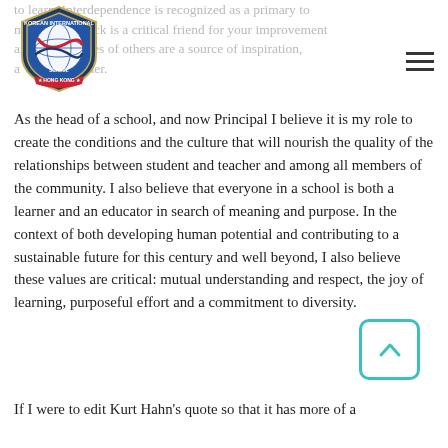[Figure (logo): Korean International School Hong Kong circular shield logo with globe and red/blue swoosh design]
to learn. Interdependence is recognized as a primary to make... edback is a critical friend for your improvement and ... cesses of others are a source of inspiration... a ... her.
As the head of a school, and now Principal I believe it is my role to create the conditions and the culture that will nourish the quality of the relationships between student and teacher and among all members of the community. I also believe that everyone in a school is both a learner and an educator in search of meaning and purpose. In the context of both developing human potential and contributing to a sustainable future for this century and well beyond, I also believe these values are critical: mutual understanding and respect, the joy of learning, purposeful effort and a commitment to diversity.
If I were to edit Kurt Hahn's quote so that it has more of a